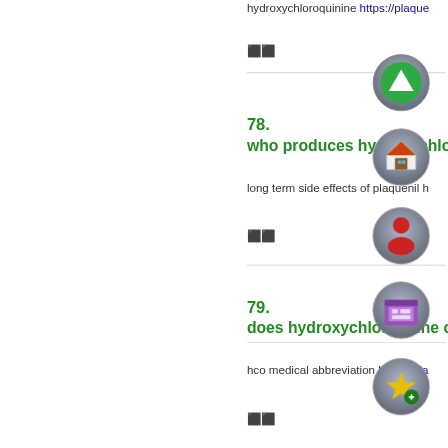hydroxychloroquinine https://plaque...
⬛⬛
[Figure (illustration): Green circle icon with upward triangle arrow on grey sphere background]
78.
who produces hydroxychloro...
[Figure (illustration): House icon on grey sphere background]
long term side effects of plaquenil h...
⬛⬛
[Figure (illustration): Red person/user icon on grey sphere background]
79.
does hydroxychloroquine ca...
[Figure (illustration): Purple pharmacy/store icon on grey sphere background]
hco medical abbreviation https://pla...
[Figure (illustration): Gold star with plus sign icon on grey sphere background]
⬛⬛